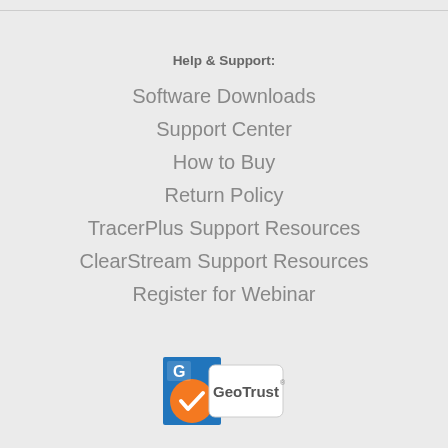Help & Support:
Software Downloads
Support Center
How to Buy
Return Policy
TracerPlus Support Resources
ClearStream Support Resources
Register for Webinar
[Figure (logo): GeoTrust security badge logo with orange circular icon and blue square background, with text 'GeoTrust']